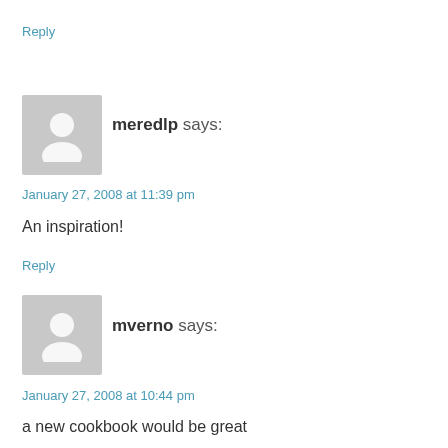Reply
[Figure (illustration): Grey avatar placeholder icon with silhouette of a person]
meredlp says:
January 27, 2008 at 11:39 pm
An inspiration!
Reply
[Figure (illustration): Grey avatar placeholder icon with silhouette of a person]
mverno says:
January 27, 2008 at 10:44 pm
a new cookbook would be great